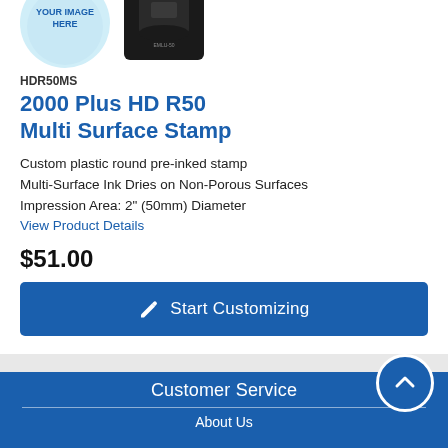[Figure (photo): Product images: a round pre-inked stamp with 'YOUR IMAGE HERE' placeholder circle on left, and a black round stamp product on right]
HDR50MS
2000 Plus HD R50 Multi Surface Stamp
Custom plastic round pre-inked stamp
Multi-Surface Ink Dries on Non-Porous Surfaces
Impression Area: 2" (50mm) Diameter
View Product Details
$51.00
Start Customizing
Customer Service
About Us